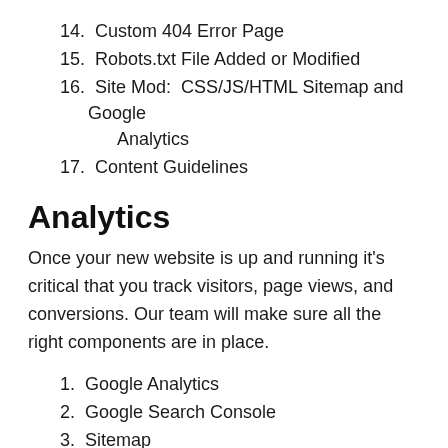14. Custom 404 Error Page
15. Robots.txt File Added or Modified
16. Site Mod:  CSS/JS/HTML Sitemap and Google Analytics
17. Content Guidelines
Analytics
Once your new website is up and running it's critical that you track visitors, page views, and conversions. Our team will make sure all the right components are in place.
1. Google Analytics
2. Google Search Console
3. Sitemap
4. SEMRush and ahrefs reports available